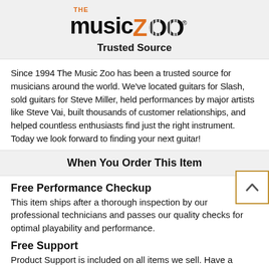[Figure (logo): The Music Zoo logo with zebra-striped letters and orange accents]
Trusted Source
Since 1994 The Music Zoo has been a trusted source for musicians around the world. We've located guitars for Slash, sold guitars for Steve Miller, held performances by major artists like Steve Vai, built thousands of customer relationships, and helped countless enthusiasts find just the right instrument. Today we look forward to finding your next guitar!
When You Order This Item
Free Performance Checkup
This item ships after a thorough inspection by our professional technicians and passes our quality checks for optimal playability and performance.
Free Support
Product Support is included on all items we sell. Have a question or need assistance? We're just a click or call away. more >>